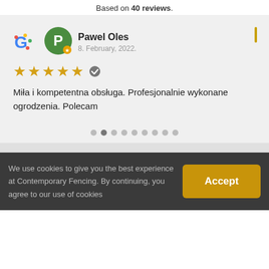Based on 40 reviews.
Pawel Oles
8. February, 2022.
★★★★★
Miła i kompetentna obsługa. Profesjonalnie wykonane ogrodzenia. Polecam
We use cookies to give you the best experience at Contemporary Fencing. By continuing, you agree to our use of cookies